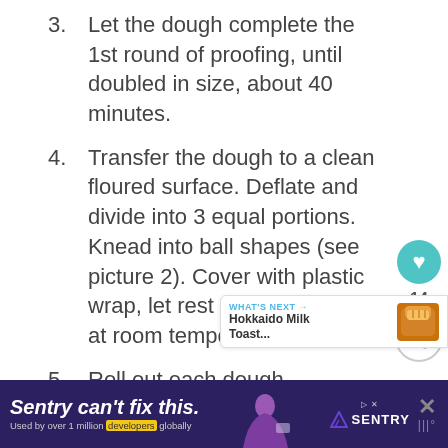3. Let the dough complete the 1st round of proofing, until doubled in size, about 40 minutes.
4. Transfer the dough to a clean floured surface. Deflate and divide into 3 equal portions. Knead into ball shapes (see picture 2). Cover with plastic wrap, let rest for 15 minutes at room temperature.
5. Roll out each dough ball with a rolling pin into an oval shape... up the dough and seal tightly (see
[Figure (other): Teal heart/like button with count 14, and a share button below it on the right side of the page]
[Figure (other): What's Next promotional card showing Hokkaido Milk Toast with bread image]
[Figure (other): Advertisement banner: Sentry can't fix this. Used by over 1 million developers globally. Sentry logo.]